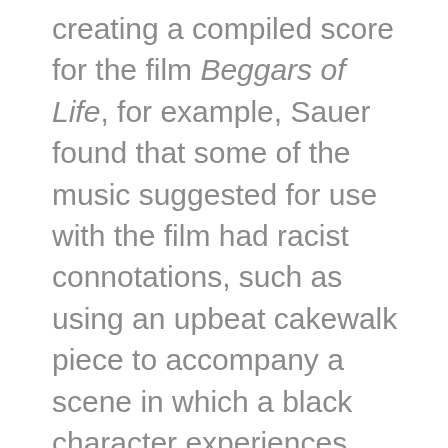creating a compiled score for the film Beggars of Life, for example, Sauer found that some of the music suggested for use with the film had racist connotations, such as using an upbeat cakewalk piece to accompany a scene in which a black character experiences tragedy, so he chose other photoplay pieces for the score. Educators are also using photoplay music: instructors teaching film music, film history, and popular music history have used pieces from SFSMA to demonstrate how a compiled score might be created, and students are scoring short films—both old and new—using music from the Archive.